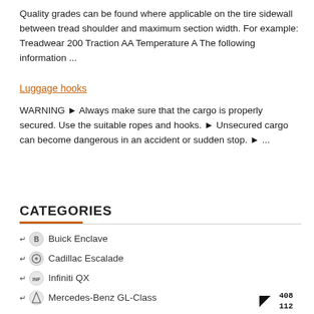Quality grades can be found where applicable on the tire sidewall between tread shoulder and maximum section width. For example: Treadwear 200 Traction AA Temperature A The following information ...
Luggage hooks
WARNING ► Always make sure that the cargo is properly secured. Use the suitable ropes and hooks. ► Unsecured cargo can become dangerous in an accident or sudden stop. ► ...
CATEGORIES
Buick Enclave
Cadillac Escalade
Infiniti QX
Mercedes-Benz GL-Class
Range Rover
408 112